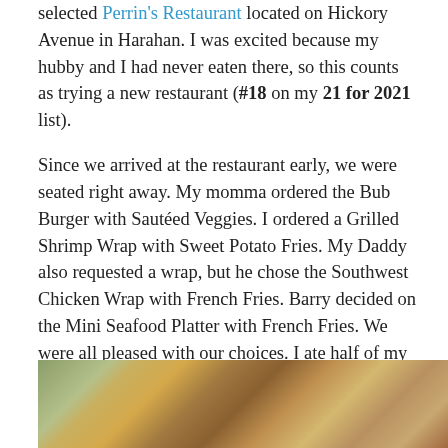selected Perrin's Restaurant located on Hickory Avenue in Harahan. I was excited because my hubby and I had never eaten there, so this counts as trying a new restaurant (#18 on my 21 for 2021 list).
Since we arrived at the restaurant early, we were seated right away. My momma ordered the Bub Burger with Sautéed Veggies. I ordered a Grilled Shrimp Wrap with Sweet Potato Fries. My Daddy also requested a wrap, but he chose the Southwest Chicken Wrap with French Fries. Barry decided on the Mini Seafood Platter with French Fries. We were all pleased with our choices. I ate half of my meal, so I could eat the other half for dinner. Yum! I give Perrin's two thumbs up, especially since there are healthy options that taste delicious.
[Figure (photo): Partial photo strip at bottom of page showing what appears to be food or restaurant interior, partially cropped.]